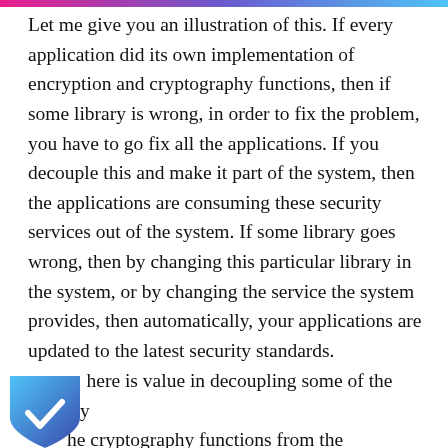Let me give you an illustration of this. If every application did its own implementation of encryption and cryptography functions, then if some library is wrong, in order to fix the problem, you have to go fix all the applications. If you decouple this and make it part of the system, then the applications are consuming these security services out of the system. If some library goes wrong, then by changing this particular library in the system, or by changing the service the system provides, then automatically, your applications are updated to the latest security standards.
There is value in decoupling some of the security and the cryptography functions from the applications, because when you do so, you automatically...
[Figure (illustration): Blue shield icon with a white checkmark, partially visible at bottom-left corner of the page]